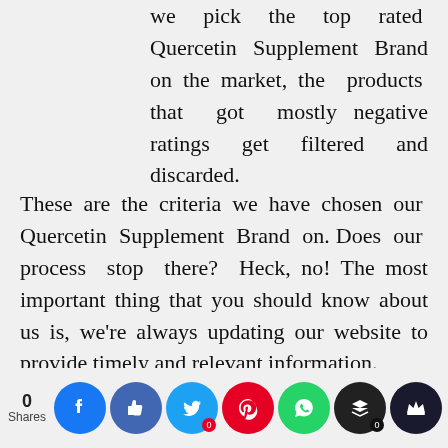we pick the top rated Quercetin Supplement Brand on the market, the products that got mostly negative ratings get filtered and discarded.
These are the criteria we have chosen our Quercetin Supplement Brand on. Does our process stop there? Heck, no! The most important thing that you should know about us is, we're always updating our website to provide timely and relevant information.
Since reader satisfaction is our utmost priority, we have a final layer of
[Figure (infographic): Social sharing bar at the bottom showing: 0 Shares, Facebook button, Like/Thumbs-up button, Twitter button (badge 0), Pinterest button, WhatsApp button, Buffer button (badge 0), Crown/unknown button]